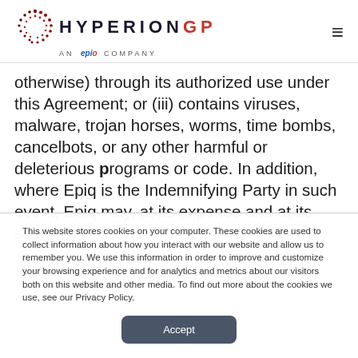HYPERION GP AN epiq COMPANY
otherwise) through its authorized use under this Agreement; or (iii) contains viruses, malware, trojan horses, worms, time bombs, cancelbots, or any other harmful or deleterious programs or code. In addition, where Epiq is the Indemnifying Party in such event, Epiq may, at its expense and at its sole
This website stores cookies on your computer. These cookies are used to collect information about how you interact with our website and allow us to remember you. We use this information in order to improve and customize your browsing experience and for analytics and metrics about our visitors both on this website and other media. To find out more about the cookies we use, see our Privacy Policy.